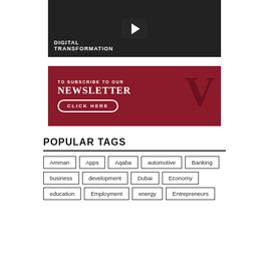[Figure (screenshot): Video thumbnail showing 'DIGITAL TRANSFORMATION' text with a play button overlay, dark background]
[Figure (infographic): Red newsletter subscription banner with text 'TO SUBSCRIBE TO OUR NEWSLETTER CLICK HERE' and large V logo on right]
POPULAR TAGS
Amman
Apps
Aqaba
automotive
Banking
business
development
Dubai
Economy
education
Employment
energy
Entrepreneurs